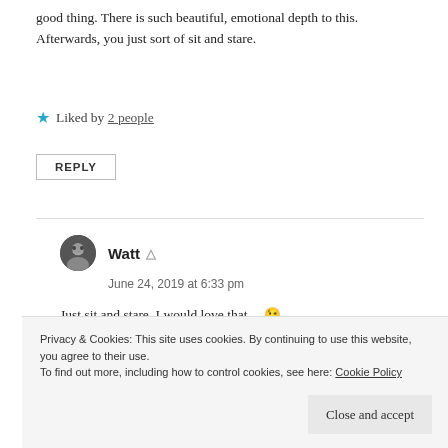good thing. There is such beautiful, emotional depth to this. Afterwards, you just sort of sit and stare.
★ Liked by 2 people
REPLY
Watt
June 24, 2019 at 6:33 pm
Just sit and stare. I would love that… 😉
Privacy & Cookies: This site uses cookies. By continuing to use this website, you agree to their use. To find out more, including how to control cookies, see here: Cookie Policy